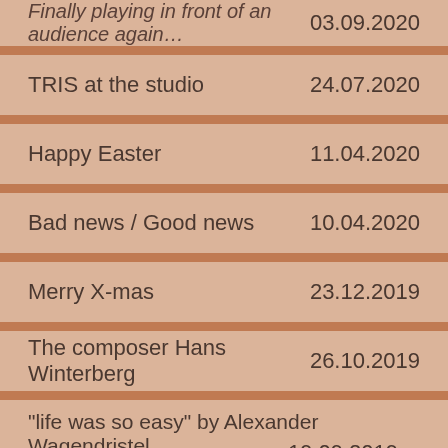Finally playing in front of an audience again – 03.09.2020
TRIS at the studio – 24.07.2020
Happy Easter – 11.04.2020
Bad news / Good news – 10.04.2020
Merry X-mas – 23.12.2019
The composer Hans Winterberg – 26.10.2019
“life was so easy” by Alexander Wagendristel – 19.09.2019